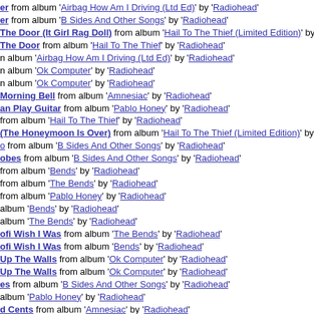er from album 'Airbag How Am I Driving (Ltd Ed)' by 'Radiohead'
er from album 'B Sides And Other Songs' by 'Radiohead'
The Door (It Girl Rag Doll) from album 'Hail To The Thief (Limited Edition)' by 'Radiohead'
The Door from album 'Hail To The Thief' by 'Radiohead'
n album 'Airbag How Am I Driving (Ltd Ed)' by 'Radiohead'
n album 'Ok Computer' by 'Radiohead'
n album 'Ok Computer' by 'Radiohead'
Morning Bell from album 'Amnesiac' by 'Radiohead'
an Play Guitar from album 'Pablo Honey' by 'Radiohead'
from album 'Hail To The Thief' by 'Radiohead'
(The Honeymoon Is Over) from album 'Hail To The Thief (Limited Edition)' by 'Radiohead'
o from album 'B Sides And Other Songs' by 'Radiohead'
obes from album 'B Sides And Other Songs' by 'Radiohead'
from album 'Bends' by 'Radiohead'
from album 'The Bends' by 'Radiohead'
from album 'Pablo Honey' by 'Radiohead'
album 'Bends' by 'Radiohead'
album 'The Bends' by 'Radiohead'
ofi Wish I Was from album 'The Bends' by 'Radiohead'
ofi Wish I Was from album 'Bends' by 'Radiohead'
Up The Walls from album 'Ok Computer' by 'Radiohead'
Up The Walls from album 'Ok Computer' by 'Radiohead'
es from album 'B Sides And Other Songs' by 'Radiohead'
album 'Pablo Honey' by 'Radiohead'
d Cents from album 'Amnesiac' by 'Radiohead'
ring from album 'Ok Computer' by 'Radiohead'
ring from album 'Ok Computer' by 'Radiohead'
g In Its Right Place from album 'Kid A' by 'Radiohead'